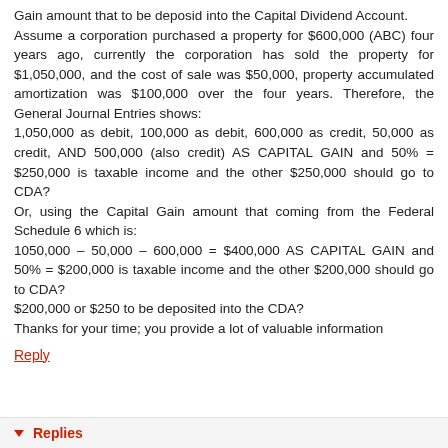Gain amount that to be deposid into the Capital Dividend Account. Assume a corporation purchased a property for $600,000 (ABC) four years ago, currently the corporation has sold the property for $1,050,000, and the cost of sale was $50,000, property accumulated amortization was $100,000 over the four years. Therefore, the General Journal Entries shows: 1,050,000 as debit, 100,000 as debit, 600,000 as credit, 50,000 as credit, AND 500,000 (also credit) AS CAPITAL GAIN and 50% = $250,000 is taxable income and the other $250,000 should go to CDA? Or, using the Capital Gain amount that coming from the Federal Schedule 6 which is: 1050,000 – 50,000 – 600,000 = $400,000 AS CAPITAL GAIN and 50% = $200,000 is taxable income and the other $200,000 should go to CDA? $200,000 or $250 to be deposited into the CDA? Thanks for your time; you provide a lot of valuable information
Reply
Replies